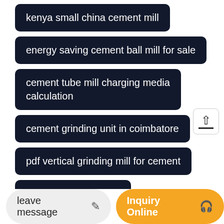kenya small china cement mill
energy saving cement ball mill for sale
cement tube mill charging media calculation
cement grinding unit in coimbatore
pdf vertical grinding mill for cement
design of cement mill
fls shoe bearing for cement mill
reliable working condi...
leave message
Inquiry Online